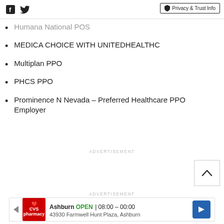Social icons and Privacy & Trust Info button
Humana National POS
MEDICA CHOICE WITH UNITEDHEALTHC
Multiplan PPO
PHCS PPO
Prominence N Nevada – Preferred Healthcare PPO Employer
ADVERTISEMENT
ADVERTISEMENT
CVS Pharmacy Ashburn OPEN 08:00 – 00:00 43930 Farmwell Hunt Plaza, Ashburn